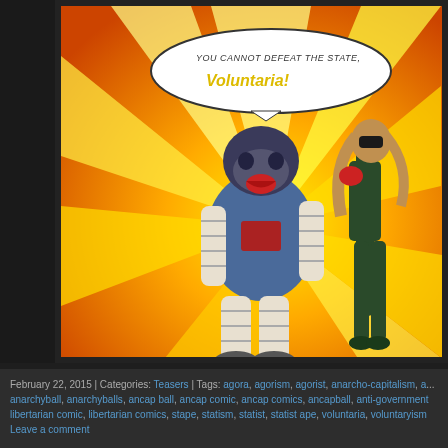[Figure (illustration): Comic panel with orange background and yellow radial light beams. A muscular gorilla villain in a blue armored suit with white bandage wrappings on limbs confronts a female superhero in a dark green bodysuit (Voluntaria). A speech bubble reads: 'You cannot defeat the state, Voluntaria!' The villain appears to be grabbing or striking the heroine.]
February 22, 2015 | Categories: Teasers | Tags: agora, agorism, agorist, anarcho-capitalism, anarchyball, anarchyballs, ancap ball, ancap comic, ancap comics, ancapball, anti-government, libertarian comic, libertarian comics, stape, statism, statist, statist ape, voluntaria, voluntaryism Leave a comment